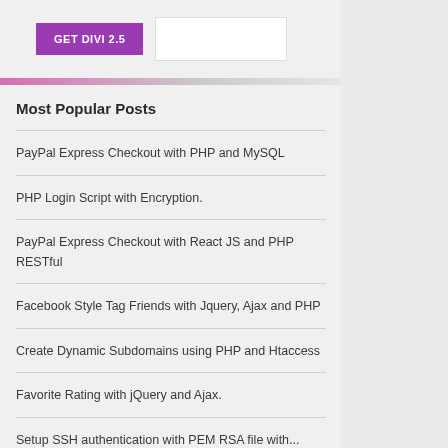[Figure (other): GET DIVI 2.5 promotional banner button with adjacent white box]
Most Popular Posts
PayPal Express Checkout with PHP and MySQL
PHP Login Script with Encryption.
PayPal Express Checkout with React JS and PHP RESTful
Facebook Style Tag Friends with Jquery, Ajax and PHP
Create Dynamic Subdomains using PHP and Htaccess
Favorite Rating with jQuery and Ajax.
Setup SSH authentication with PEM RSA file with...